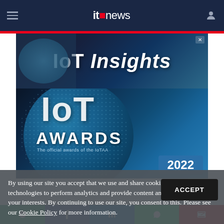itnews
[Figure (advertisement): IoT Insights advertisement banner with dark blue background]
[Figure (photo): IoT Awards 2022 promotional image - globe with IoT text, AWARDS label, 'The official awards of the IoTAA', 2022 badge]
By using our site you accept that we use and share cookies and similar technologies to perform analytics and provide content and ads tailored to your interests. By continuing to use our site, you consent to this. Please see our Cookie Policy for more information.
ACCEPT